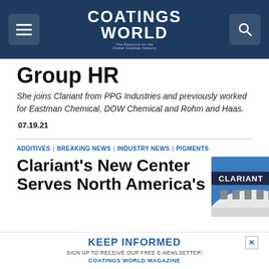Coatings World — The Resource for the Global Coatings Industry
Group HR
She joins Clariant from PPG Industries and previously worked for Eastman Chemical, DOW Chemical and Rohm and Haas.
07.19.21
ADDITIVES | BREAKING NEWS | INDUSTRY NEWS | PIGMENTS
[Figure (photo): Photo of a Clariant building exterior showing the Clariant logo on a curved white wall under a blue sky]
Clariant's New Center Serves North America's
KEEP INFORMED — SIGN UP TO RECEIVE OUR FREE E-NEWLSETTER! COATINGS WORLD MAGAZINE